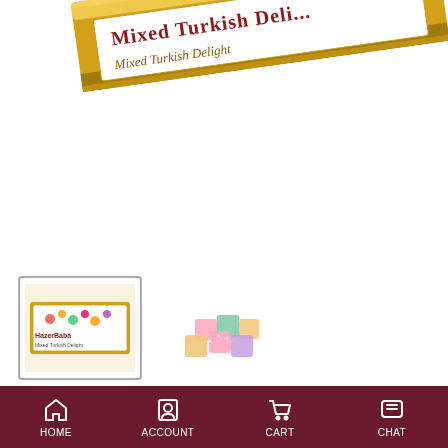[Figure (photo): Hazer Baba Mixed Turkish Delight gold foil package, partially cropped at top, showing gold border and red/white label reading 'Mixed Turkish Delight']
[Figure (photo): Two thumbnail images: (1) bordered box showing Hazer Baba Mixed Turkish Delight package front; (2) small cluster of colorful Turkish delight candies in pink, green, and orange]
Hazer Baba Mixed Turkish Delight
★★★★★
$ 28,00  $ 12,80
HOME  ACCOUNT  CART  CHAT